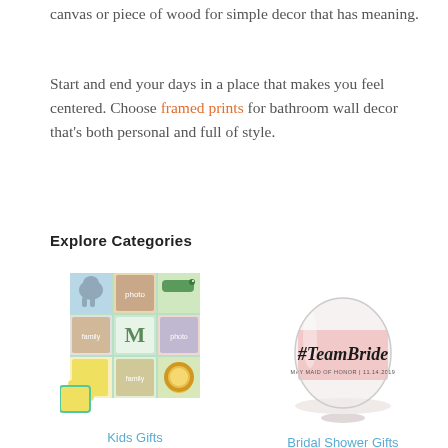canvas or piece of wood for simple decor that has meaning.
Start and end your days in a place that makes you feel centered. Choose framed prints for bathroom wall decor that’s both personal and full of style.
Explore Categories
[Figure (photo): A colorful photo puzzle for kids showing a family collage with cartoon animals and a letter M, pieces partially assembled.]
Kids Gifts
[Figure (photo): A stemless wine glass with pink label reading #TeamBride, MAY MAID OF HONOR | 11.14.2019]
Bridal Shower Gifts